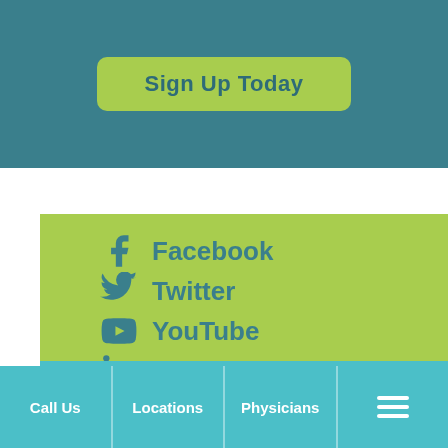Sign Up Today
Facebook
Twitter
YouTube
Linkedin
Instagram
Pinterest
Call Us | Locations | Physicians | Menu